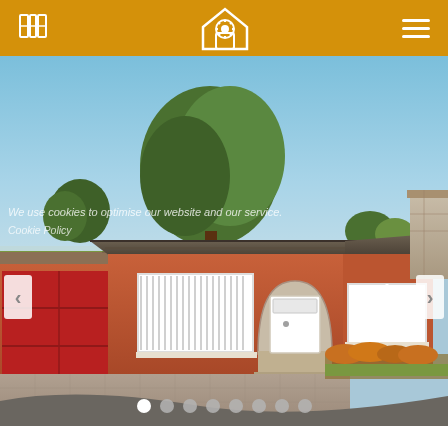Navigation bar with map icon, house logo, and hamburger menu
[Figure (photo): Exterior photo of a single-storey brick bungalow with tiled roof, arched front door, white-framed windows, red garage door on the left, stone chimney on the right, large driveway, trees in the background, blue sky. Carousel navigation arrows left and right. Watermark text overlaid: 'We use cookies to optimise our website and our service.' and 'Cookie Policy'. Dot pagination indicator at the bottom showing 8 dots, first dot active/white.]